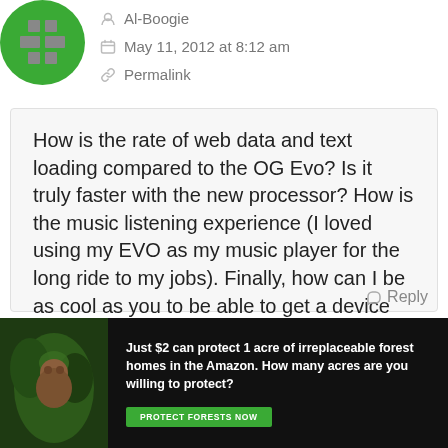[Figure (illustration): Green circular avatar with a white cross/plus symbol made of grey squares in the center]
Al-Boogie
May 11, 2012 at 8:12 am
Permalink
How is the rate of web data and text loading compared to the OG Evo? Is it truly faster with the new processor? How is the music listening experience (I loved using my EVO as my music player for the long ride to my jobs). Finally, how can I be as cool as you to be able to get a device WAY before its launch date, LOL.
Reply
[Figure (other): Advertisement banner: Just $2 can protect 1 acre of irreplaceable forest homes in the Amazon. How many acres are you willing to protect? PROTECT FORESTS NOW]